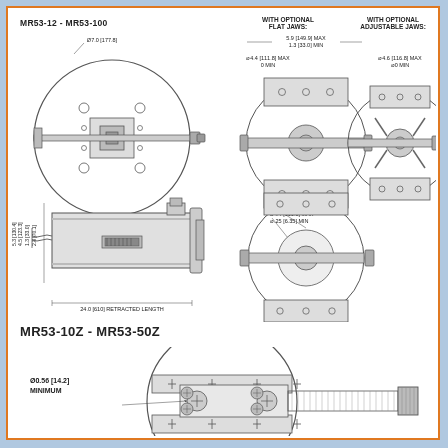MR53-12 - MR53-100
[Figure (engineering-diagram): Engineering dimensional drawings of MR53-12 to MR53-100 series: front/top circular view with Ø7.0 [177.8] diameter label, side profile view with dimensions 5.3[130.4], 4.5[123.3], 1.3[33.0], 2.8[70.1] and 24.0[610] retracted length; with optional flat jaws showing 5.9[149.9] MAX / 1.3[33.0] MIN and Ø4.4[111.8] MAX / 0 MIN and Ø6.0[151.8] MAX / Ø1.3[33.0] MIN and Ø4.4[111.8] MAX / Ø.25[6.35] MIN; with optional adjustable jaws showing Ø4.6[116.8] MAX / Ø0 MIN]
MR53-10Z - MR53-50Z
[Figure (engineering-diagram): Engineering dimensional drawing of MR53-10Z to MR53-50Z series: front circular view with Ø0.56[14.2] MINIMUM label, showing collet-style chuck with cross-pattern holes and threaded rod assembly]